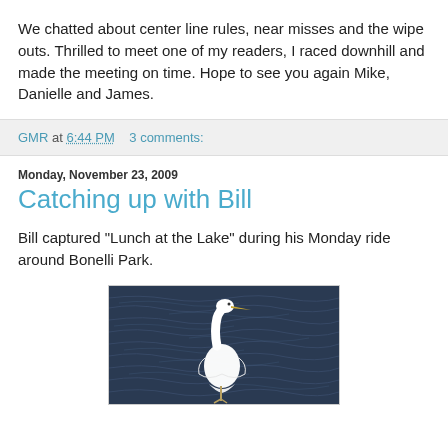We chatted about center line rules, near misses and the wipe outs. Thrilled to meet one of my readers, I raced downhill and made the meeting on time. Hope to see you again Mike, Danielle and James.
GMR at 6:44 PM   3 comments:
Monday, November 23, 2009
Catching up with Bill
Bill captured "Lunch at the Lake" during his Monday ride around Bonelli Park.
[Figure (photo): A white egret bird standing in dark blue rippling water, photographed during a ride around Bonelli Park.]